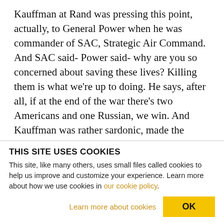Kauffman at Rand was pressing this point, actually, to General Power when he was commander of SAC, Strategic Air Command. And SAC said- Power said- why are you so concerned about saving these lives? Killing them is what we're up to doing. He says, after all, if at the end of the war there's two Americans and one Russian, we win. And Kauffman was rather sardonic, made the mistake of saying, well, you'd better hope that one of them is a man and one is a woman. At which point Power stomped out of the room and took his, his staff with him in anger.
THIS SITE USES COOKIES
This site, like many others, uses small files called cookies to help us improve and customize your experience. Learn more about how we use cookies in our cookie policy.
Learn more about cookies   OK